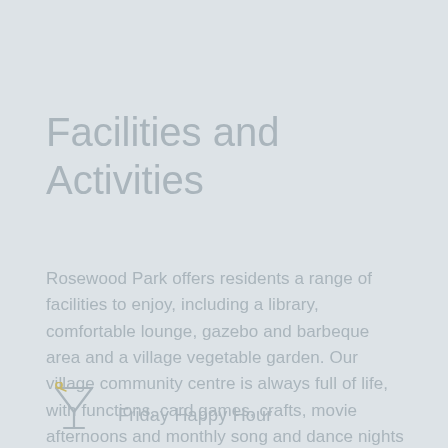Facilities and Activities
Rosewood Park offers residents a range of facilities to enjoy, including a library, comfortable lounge, gazebo and barbeque area and a village vegetable garden. Our village community centre is always full of life, with functions, card games, crafts, movie afternoons and monthly song and dance nights and Friday evening happy hour.
[Figure (illustration): A cocktail martini glass icon in light grey]
Friday Happy Hour